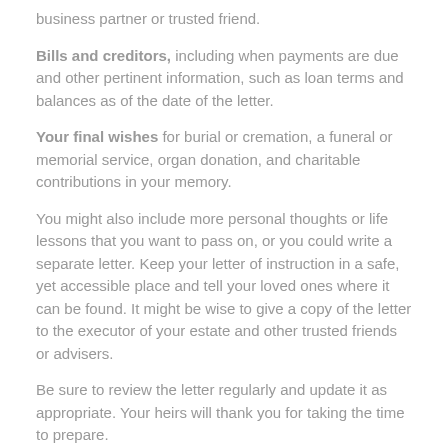business partner or trusted friend.
Bills and creditors, including when payments are due and other pertinent information, such as loan terms and balances as of the date of the letter.
Your final wishes for burial or cremation, a funeral or memorial service, organ donation, and charitable contributions in your memory.
You might also include more personal thoughts or life lessons that you want to pass on, or you could write a separate letter. Keep your letter of instruction in a safe, yet accessible place and tell your loved ones where it can be found. It might be wise to give a copy of the letter to the executor of your estate and other trusted friends or advisers.
Be sure to review the letter regularly and update it as appropriate. Your heirs will thank you for taking the time to prepare.